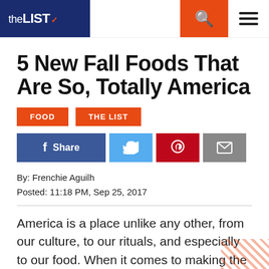the LIST
5 New Fall Foods That Are So, Totally America
FOOD
THE LIST
By: Frenchie Aguilh
Posted: 11:18 PM, Sep 25, 2017
America is a place unlike any other, from our culture, to our rituals, and especially to our food. When it comes to making the new, tasty and huge, American ingenuity knows no